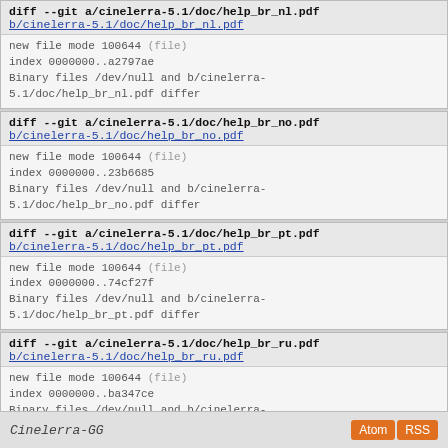diff --git a/cinelerra-5.1/doc/help_br_nl.pdf
b/cinelerra-5.1/doc/help_br_nl.pdf
new file mode 100644 (file)
index 0000000..a2797ae
Binary files /dev/null and b/cinelerra-5.1/doc/help_br_nl.pdf differ
diff --git a/cinelerra-5.1/doc/help_br_no.pdf
b/cinelerra-5.1/doc/help_br_no.pdf
new file mode 100644 (file)
index 0000000..23b6685
Binary files /dev/null and b/cinelerra-5.1/doc/help_br_no.pdf differ
diff --git a/cinelerra-5.1/doc/help_br_pt.pdf
b/cinelerra-5.1/doc/help_br_pt.pdf
new file mode 100644 (file)
index 0000000..74cf27f
Binary files /dev/null and b/cinelerra-5.1/doc/help_br_pt.pdf differ
diff --git a/cinelerra-5.1/doc/help_br_ru.pdf
b/cinelerra-5.1/doc/help_br_ru.pdf
new file mode 100644 (file)
index 0000000..ba347ce
Binary files /dev/null and b/cinelerra-5.1/doc/help_br_ru.pdf differ
Cinelerra-GG  Atom  RSS